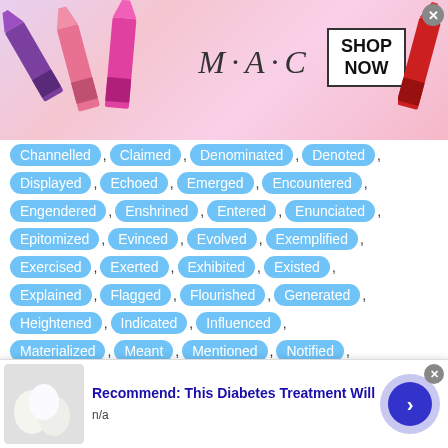[Figure (photo): MAC cosmetics advertisement banner with lipsticks on left and right, MAC logo in center, SHOP NOW button in a box]
Channelled , Claimed , Denominated , Denoted ,
Displayed , Echoed , Emerged , Encountered ,
Engendered , Enshrined , Entered , Enunciated ,
Epitomized , Evinced , Evolved , Exemplified ,
Exercised , Exerted , Exhibited , Existed ,
Explained , Flagged , Flourished , Generated ,
Heightened , Indicated , Influenced ,
Materialized , Meant , Mentioned , Notified ,
Occurred , Participated , Performed , Phrased ,
Quoted , Reared , Resulted , Seemed , Shown ,
Signaled , Talked , Told , Translated , Yielded ,
Communicated , Complained , Contributed ,
Couched , Culminated , Prompted , Protested ,
[Figure (photo): Bottom advertisement: Recommend: This Diabetes Treatment Will, with food image thumbnail and arrow button]